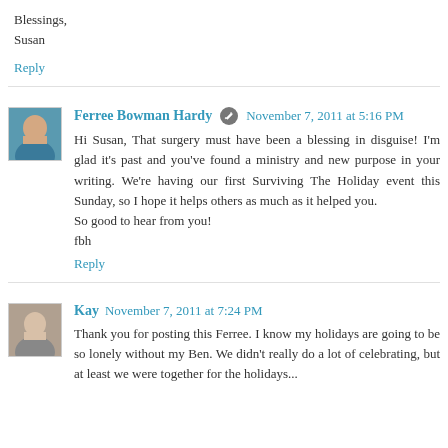Blessings,
Susan
Reply
Ferree Bowman Hardy  November 7, 2011 at 5:16 PM
Hi Susan, That surgery must have been a blessing in disguise! I'm glad it's past and you've found a ministry and new purpose in your writing. We're having our first Surviving The Holiday event this Sunday, so I hope it helps others as much as it helped you.
So good to hear from you!
fbh
Reply
Kay  November 7, 2011 at 7:24 PM
Thank you for posting this Ferree. I know my holidays are going to be so lonely without my Ben. We didn't really do a lot of celebrating, but at least we were together for the holidays...